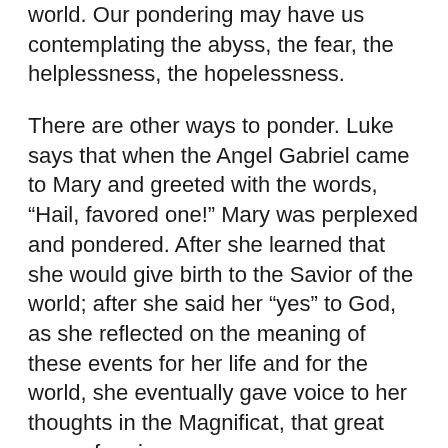world. Our pondering may have us contemplating the abyss, the fear, the helplessness, the hopelessness.
There are other ways to ponder. Luke says that when the Angel Gabriel came to Mary and greeted with the words, “Hail, favored one!” Mary was perplexed and pondered. After she learned that she would give birth to the Savior of the world; after she said her “yes” to God, as she reflected on the meaning of these events for her life and for the world, she eventually gave voice to her thoughts in the Magnificat, that great song of praise:
‘My soul magnifies the Lord,
and my spirit rejoices in God my Saviour,
for he has looked with favour on the lowliness of his servant.
His mercy is for those who fear him